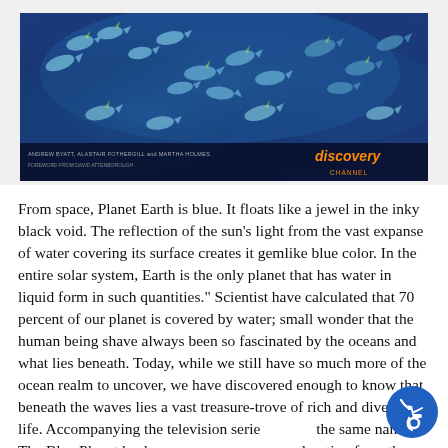[Figure (photo): Underwater photo of a school of fish in deep blue ocean water, with Discovery channel branding and author credits at the bottom.]
From space, Planet Earth is blue. It floats like a jewel in the inky black void. The reflection of the sun's light from the vast expanse of water covering its surface creates it gemlike blue color. In the entire solar system, Earth is the only planet that has water in liquid form in such quantities." Scientist have calculated that 70 percent of our planet is covered by water; small wonder that the human being shave always been so fascinated by the oceans and what lies beneath. Today, while we still have so much more of the ocean realm to uncover, we have discovered enough to know that beneath the waves lies a vast treasure-trove of rich and diverse life. Accompanying the television series the same name, The Blue Planet leads up on a voyage of exploration from the greatest the wonders of the...